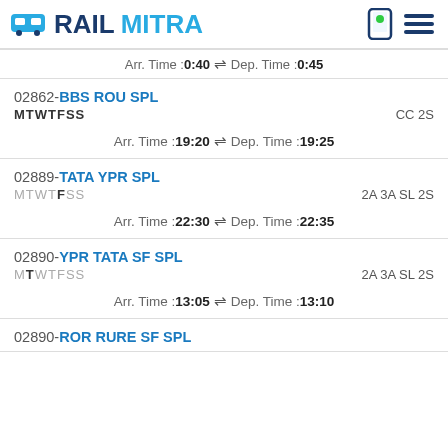RAILMITRA
Arr. Time :0:40  ⇌ Dep. Time :0:45
02862-BBS ROU SPL MTWTFSS CC 2S Arr. Time :19:20 ⇌ Dep. Time :19:25
02889-TATA YPR SPL MTWTfSS 2A 3A SL 2S Arr. Time :22:30 ⇌ Dep. Time :22:35
02890-YPR TATA SF SPL MtWTFSS 2A 3A SL 2S Arr. Time :13:05 ⇌ Dep. Time :13:10
02890-ROR RURE SF SPL